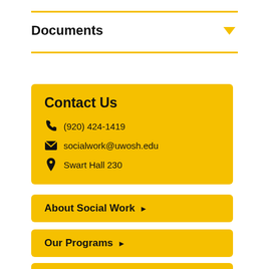Documents
Contact Us
(920) 424-1419
socialwork@uwosh.edu
Swart Hall 230
About Social Work
Our Programs